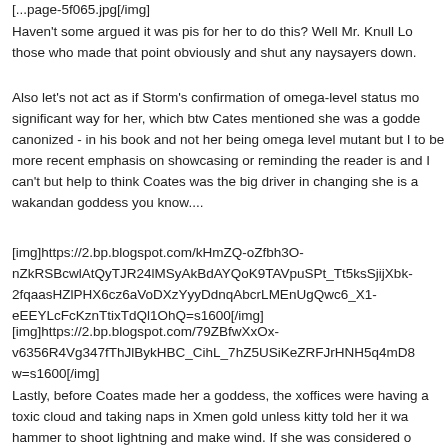[...page-5f065.jpg[/img]
Haven't some argued it was pis for her to do this? Well Mr. Knull Lo those who made that point obviously and shut any naysayers down.
Also let's not act as if Storm's confirmation of omega-level status mo significant way for her, which btw Cates mentioned she was a godde canonized - in his book and not her being omega level mutant but I to be more recent emphasis on showcasing or reminding the reader is and I can't but help to think Coates was the big driver in changing she is a wakandan goddess you know....
[img]https://2.bp.blogspot.com/kHmZQ-oZfbh3O-nZkRSBcwlAtQyTJR24lMSyAkBdAYQoK9TAVpuSPt_Tt5ksSjijXbk-2fqaasHZlPHX6cz6aVoDXzYyyDdnqAbcrLMEnUgQwc6_X1-eEEYLcFcKznTtixTdQl1OhQ=s1600[/img]
[img]https://2.bp.blogspot.com/79ZBfwXxOx-v6356R4Vg347fThJlBykHBC_CihL_7hZ5USiKeZRFJrHNH5q4mD8 w=s1600[/img]
Lastly, before Coates made her a goddess, the xoffices were having a toxic cloud and taking naps in Xmen gold unless kitty told her it wa hammer to shoot lightning and make wind. If she was considered o mutants you certainly couldn't tell that reading the flagship x-titles b